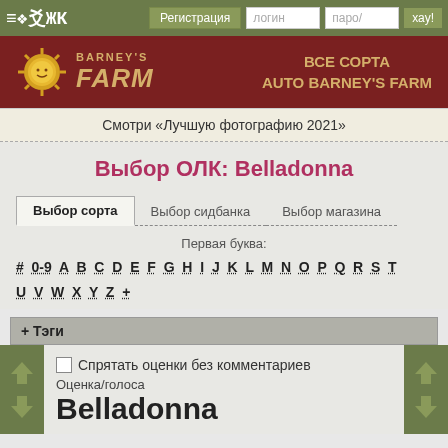≡ ❖ 爻 ЖК | Регистрация | логин | паро/ | хау!
[Figure (illustration): Barney's Farm banner — red background with sun logo and gold text: BARNEY'S FARM | ВСЕ СОРТА AUTO BARNEY'S FARM]
Смотри «Лучшую фотографию 2021»
Выбор ОЛК: Belladonna
Выбор сорта | Выбор сидбанка | Выбор магазина
Первая буква:
# 0-9 A B C D E F G H I J K L M N O P Q R S T U V W X Y Z +
+ Тэги
☐ Спрятать оценки без комментариев
Оценка/голоса
Belladonna